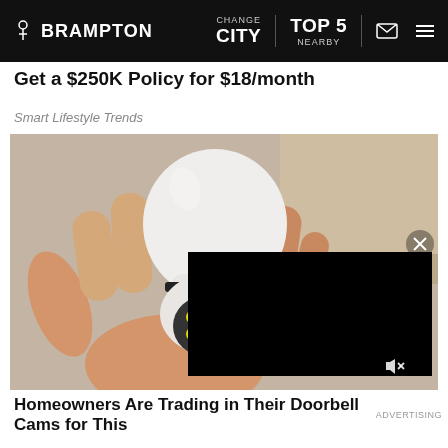inBRAMPTON | CHANGE CITY | TOP 5 NEARBY
Get a $250K Policy for $18/month
Smart Lifestyle Trends
[Figure (photo): A hand holding a white lightbulb-shaped security camera with a black video player overlay in the lower right corner showing a muted black screen, with an X close button.]
Homeowners Are Trading in Their Doorbell Cams for This
ADVERTISING